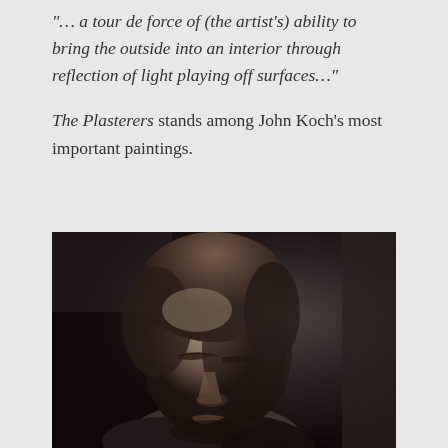"… a tour de force of (the artist's) ability to bring the outside into an interior through reflection of light playing off surfaces…"
The Plasterers stands among John Koch's most important paintings.
[Figure (photo): Black and white portrait photograph of a young woman with short hair, eyes closed or looking downward, head slightly bowed, wearing a dark top with patterned fabric. Dramatic lighting from the side.]